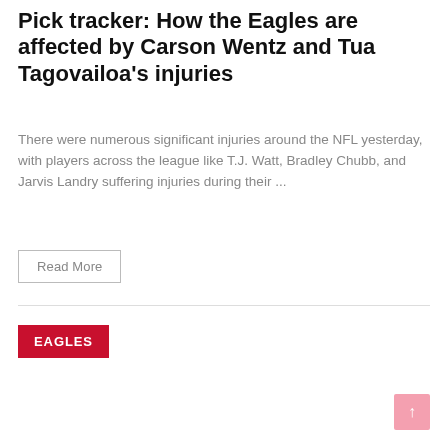Pick tracker: How the Eagles are affected by Carson Wentz and Tua Tagovailoa's injuries
There were numerous significant injuries around the NFL yesterday, with players across the league like T.J. Watt, Bradley Chubb, and Jarvis Landry suffering injuries during their ...
Read More
EAGLES